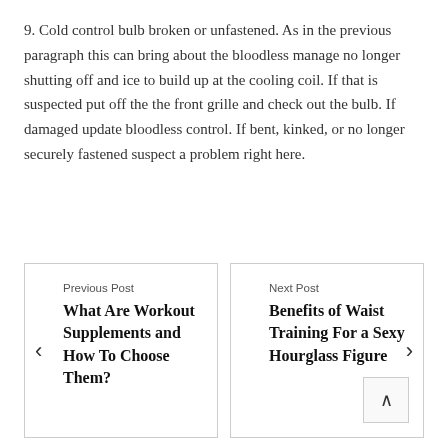9. Cold control bulb broken or unfastened. As in the previous paragraph this can bring about the bloodless manage no longer shutting off and ice to build up at the cooling coil. If that is suspected put off the the front grille and check out the bulb. If damaged update bloodless control. If bent, kinked, or no longer securely fastened suspect a problem right here.
Previous Post
What Are Workout Supplements and How To Choose Them?
Next Post
Benefits of Waist Training For a Sexy Hourglass Figure